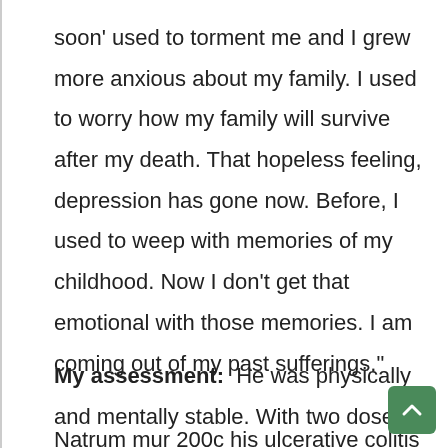soon' used to torment me and I grew more anxious about my family. I used to worry how my family will survive after my death. That hopeless feeling, depression has gone now. Before, I used to weep with memories of my childhood. Now I don't get that emotional with those memories. I am coming out of my past sufferings."
My assessment: He was physically and mentally stable. With two doses of Natrum mur 200c his ulcerative colitis